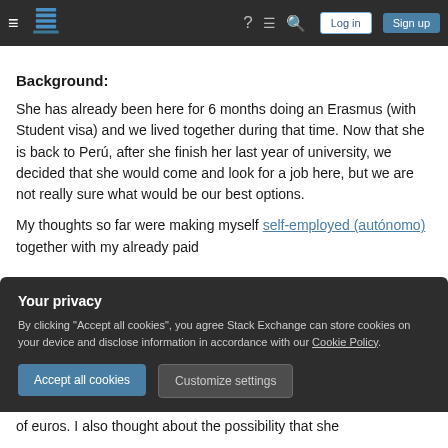Stack Exchange navigation bar with hamburger menu, logo, help, chat, search icons, Log in and Sign up buttons
Background:
She has already been here for 6 months doing an Erasmus (with Student visa) and we lived together during that time. Now that she is back to Perú, after she finish her last year of university, we decided that she would come and look for a job here, but we are not really sure what would be our best options.
My thoughts so far were making myself self-employed (autónomo) together with my already paid
Your privacy
By clicking "Accept all cookies", you agree Stack Exchange can store cookies on your device and disclose information in accordance with our Cookie Policy.
Accept all cookies
Customize settings
of euros. I also thought about the possibility that she